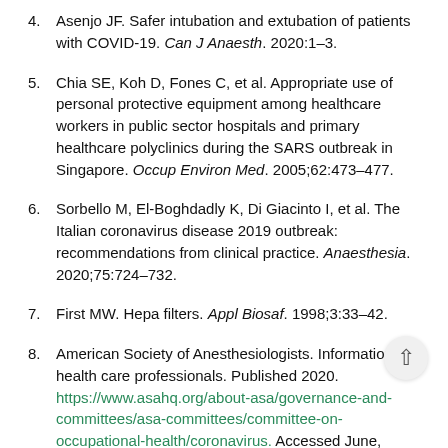4. Asenjo JF. Safer intubation and extubation of patients with COVID-19. Can J Anaesth. 2020:1–3.
5. Chia SE, Koh D, Fones C, et al. Appropriate use of personal protective equipment among healthcare workers in public sector hospitals and primary healthcare polyclinics during the SARS outbreak in Singapore. Occup Environ Med. 2005;62:473–477.
6. Sorbello M, El-Boghdadly K, Di Giacinto I, et al. The Italian coronavirus disease 2019 outbreak: recommendations from clinical practice. Anaesthesia. 2020;75:724–732.
7. First MW. Hepa filters. Appl Biosaf. 1998;3:33–42.
8. American Society of Anesthesiologists. Information for health care professionals. Published 2020. https://www.asahq.org/about-asa/governance-and-committees/asa-committees/committee-on-occupational-health/coronavirus. Accessed June, 2020.
9. Wikipedia. HEPA. https://en.wikipedia.org/wiki/HEPA